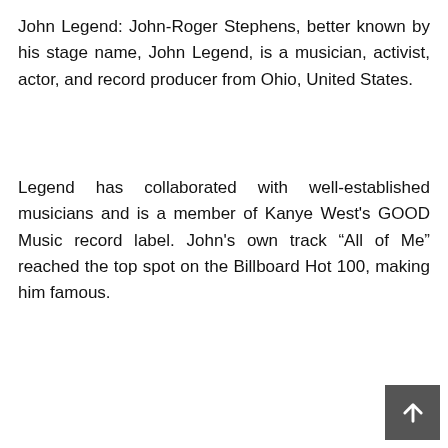John Legend: John-Roger Stephens, better known by his stage name, John Legend, is a musician, activist, actor, and record producer from Ohio, United States.
Legend has collaborated with well-established musicians and is a member of Kanye West's GOOD Music record label. John's own track "All of Me" reached the top spot on the Billboard Hot 100, making him famous.